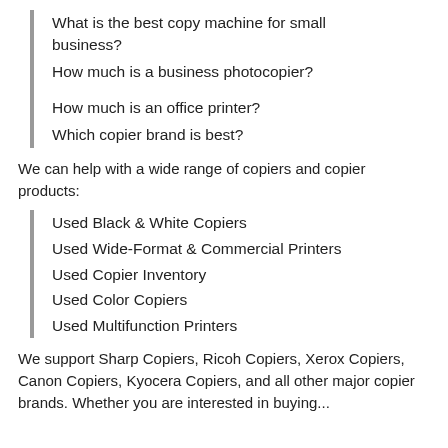What is the best copy machine for small business?
How much is a business photocopier?
How much is an office printer?
Which copier brand is best?
We can help with a wide range of copiers and copier products:
Used Black & White Copiers
Used Wide-Format & Commercial Printers
Used Copier Inventory
Used Color Copiers
Used Multifunction Printers
We support Sharp Copiers, Ricoh Copiers, Xerox Copiers, Canon Copiers, Kyocera Copiers, and all other major copier brands. Whether you are interested in buying...